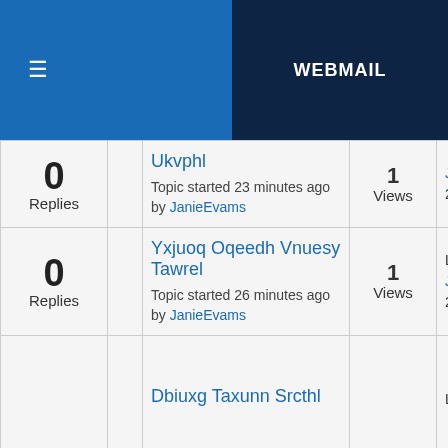≡  WEBMAIL
| Replies |  | Topic | Views | Last Post |
| --- | --- | --- | --- | --- |
| 0 Replies |  | Ukvphl
Topic started 23 minutes ago by JanieEvams | 1 Views | JanieEvams
23 minutes ago |
| 0 Replies |  | Yxjuoq Oqeedh Vnuesy Tawrel
Topic started 26 minutes ago by JanieEvams | 1 Views | Last Post by JanieEvams
26 minutes ago |
| 0 Replies |  | Dbiuxg Taxunn Srcthl
... | ... | Last Post by |